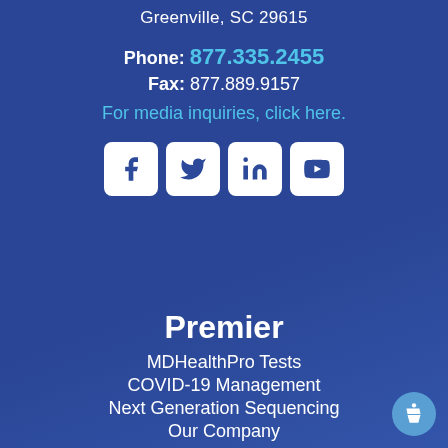Greenville, SC 29615
Phone: 877.335.2455
Fax: 877.889.9157
For media inquiries, click here.
[Figure (other): Social media icons: Facebook, Twitter, LinkedIn, YouTube]
Premier
MDHealthPro Tests
COVID-19 Management
Next Generation Sequencing
Our Company